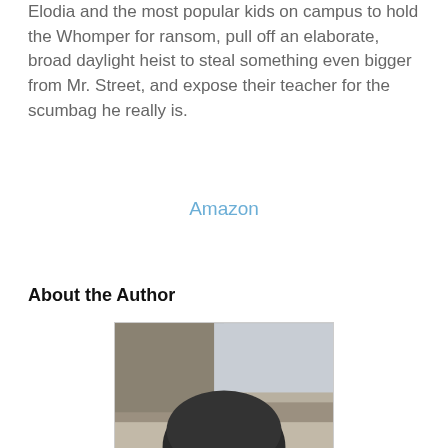Elodia and the most popular kids on campus to hold the Whomper for ransom, pull off an elaborate, broad daylight heist to steal something even bigger from Mr. Street, and expose their teacher for the scumbag he really is.
Amazon
About the Author
[Figure (photo): Headshot of a man wearing a dark baseball cap and black-rimmed glasses, smiling, with a blurred outdoor background.]